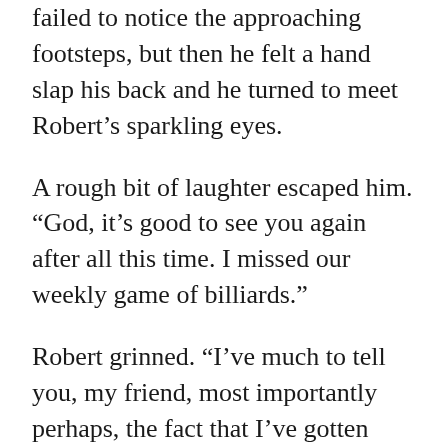failed to notice the approaching footsteps, but then he felt a hand slap his back and he turned to meet Robert's sparkling eyes.
A rough bit of laughter escaped him. “God, it’s good to see you again after all this time. I missed our weekly game of billiards.”
Robert grinned. “I’ve much to tell you, my friend, most importantly perhaps, the fact that I’ve gotten engaged.”
Charles stared at the man whom he knew so well and then laughed. “Truly? You must introduce me at once to the marvelous woman who’s